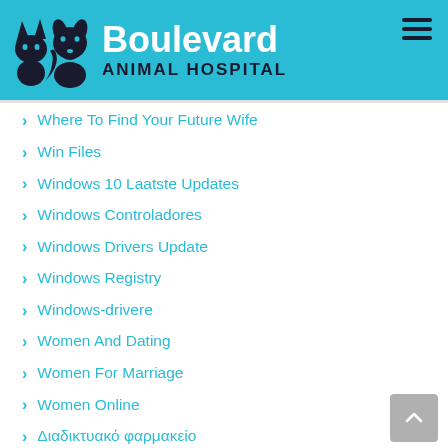[Figure (logo): Boulevard Animal Hospital logo with black cat and dog silhouettes on cyan/teal header background, with bold white 'Boulevard' text and dark 'ANIMAL HOSPITAL' subtitle]
Where To Find Your Future Wife
Win Files
Windows 10 Laatste Updates
Windows Controladores
Windows Drivers Update
Windows Registry
Windows-drivere
Women And Dating
Women For Marriage
Women Online
Διαδικτυακό φαρμακείο
война россии и украины 2022